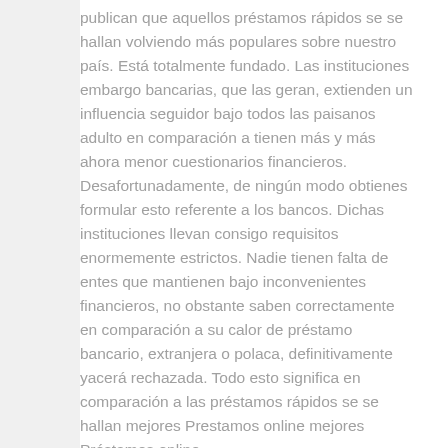publican que aquellos préstamos rápidos se se hallan volviendo más populares sobre nuestro país. Está totalmente fundado. Las instituciones embargo bancarias, que las geran, extienden un influencia seguidor bajo todos las paisanos adulto en comparación a tienen más y más ahora menor cuestionarios financieros. Desafortunadamente, de ningún modo obtienes formular esto referente a los bancos. Dichas instituciones llevan consigo requisitos enormemente estrictos. Nadie tienen falta de entes que mantienen bajo inconvenientes financieros, no obstante saben correctamente en comparación a su calor de préstamo bancario, extranjera o polaca, definitivamente yacerá rechazada. Todo esto significa en comparación a las préstamos rápidos se se hallan mejores Prestamos online mejores Préstamos online.